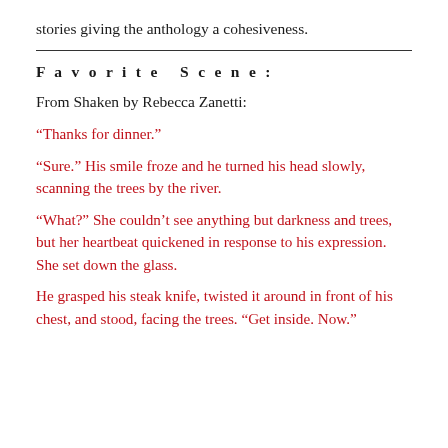stories giving the anthology a cohesiveness.
Favorite Scene:
From Shaken by Rebecca Zanetti:
“Thanks for dinner.”
“Sure.” His smile froze and he turned his head slowly, scanning the trees by the river.
“What?” She couldn’t see anything but darkness and trees, but her heartbeat quickened in response to his expression. She set down the glass.
He grasped his steak knife, twisted it around in front of his chest, and stood, facing the trees. “Get inside. Now.”